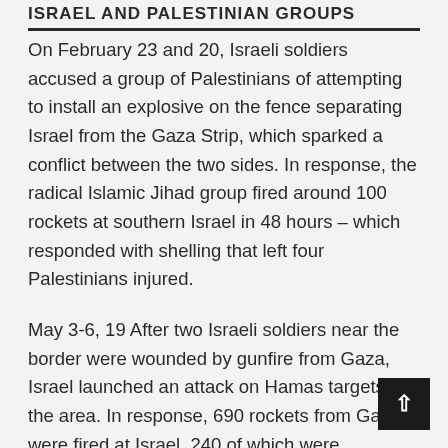ISRAEL AND PALESTINIAN GROUPS
On February 23 and 20, Israeli soldiers accused a group of Palestinians of attempting to install an explosive on the fence separating Israel from the Gaza Strip, which sparked a conflict between the two sides. In response, the radical Islamic Jihad group fired around 100 rockets at southern Israel in 48 hours – which responded with shelling that left four Palestinians injured.
May 3-6, 19 After two Israeli soldiers near the border were wounded by gunfire from Gaza, Israel launched an attack on Hamas targets in the area. In response, 690 rockets from Gaza were fired at Israel, 240 of which were intercepted by the air defense system. The clash ended with 25 dead on the Palestinian side – including two pregnant women and two children – and 4 on the Israeli side.